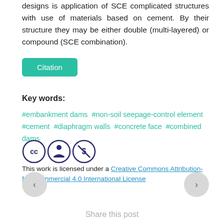designs is application of SCE complicated structures with use of materials based on cement. By their structure they may be either double (multi-layered) or compound (SCE combination).
Citation
Key words:
#embankment dams #non-soil seepage-control element #cement #diaphragm walls #concrete face #combined dams
[Figure (logo): Creative Commons license icons: CC, BY, NC circles]
This work is licensed under a Creative Commons Attribution-NonCommercial 4.0 International License
Share this post